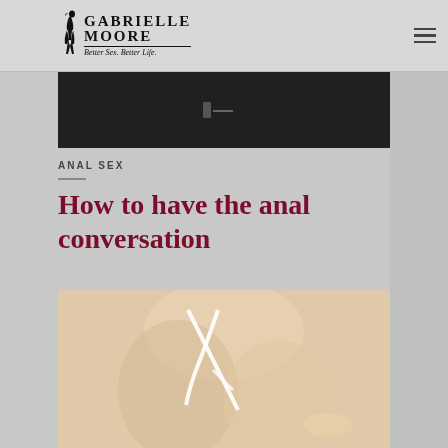GABRIELLE MOORE — Better Sex. Better Life.
[Figure (photo): Dark moody photo of a person, partially visible, top portion cropped]
ANAL SEX
How to have the anal conversation
[Figure (photo): Close-up photo of a person's body wearing white lingerie straps against skin-toned background]